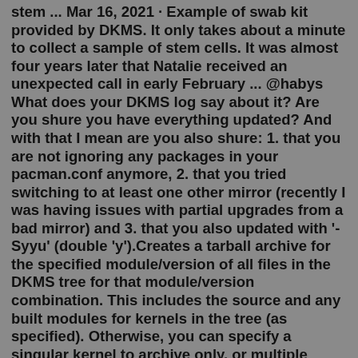stem ... Mar 16, 2021 · Example of swab kit provided by DKMS. It only takes about a minute to collect a sample of stem cells. It was almost four years later that Natalie received an unexpected call in early February ... @habys What does your DKMS log say about it? Are you shure you have everything updated? And with that I mean are you also shure: 1. that you are not ignoring any packages in your pacman.conf anymore, 2. that you tried switching to at least one other mirror (recently I was having issues with partial upgrades from a bad mirror) and 3. that you also updated with '-Syyu' (double 'y').Creates a tarball archive for the specified module/version of all files in the DKMS tree for that module/version combination. This includes the source and any built modules for kernels in the tree (as specified). Otherwise, you can specify a singular kernel to archive only, or multiple kernels to archive (-k kernel1/arch1 -k kernel2/arch2).